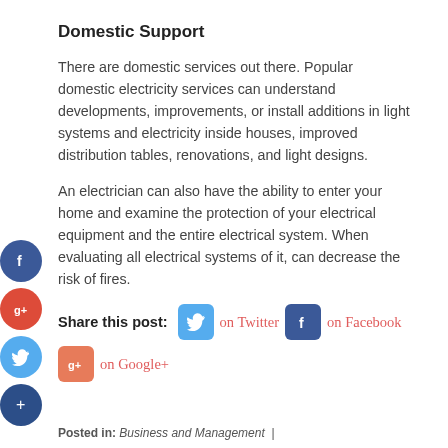Domestic Support
There are domestic services out there. Popular domestic electricity services can understand developments, improvements, or install additions in light systems and electricity inside houses, improved distribution tables, renovations, and light designs.
An electrician can also have the ability to enter your home and examine the protection of your electrical equipment and the entire electrical system. When evaluating all electrical systems of it, can decrease the risk of fires.
Share this post: on Twitter on Facebook on Google+
Posted in: Business and Management |